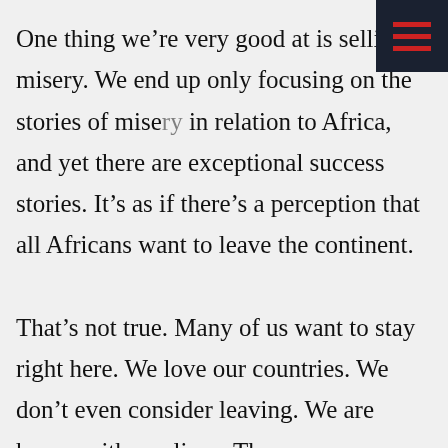One thing we're very good at is selling misery. We end up only focusing on the stories of misery in relation to Africa, and yet there are exceptional success stories. It's as if there's a perception that all Africans want to leave the continent.

That's not true. Many of us want to stay right here. We love our countries. We don't even consider leaving. We are happy with our lives. The same way you feel about your country, we feel about ours. And that's the Africa that needs to be portrayed more; the view that we are